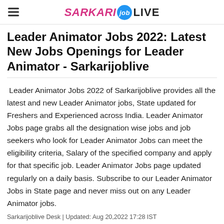SARKARI job LIVE
Leader Animator Jobs 2022: Latest New Jobs Openings for Leader Animator - Sarkarijoblive
Leader Animator Jobs 2022 of Sarkarijoblive provides all the latest and new Leader Animator jobs, State updated for Freshers and Experienced across India. Leader Animator Jobs page grabs all the designation wise jobs and job seekers who look for Leader Animator Jobs can meet the eligibility criteria, Salary of the specified company and apply for that specific job. Leader Animator Jobs page updated regularly on a daily basis. Subscribe to our Leader Animator Jobs in State page and never miss out on any Leader Animator jobs.
Sarkarijoblive Desk | Updated: Aug 20,2022 17:28 IST